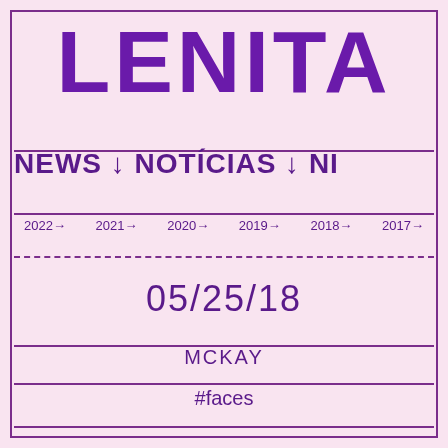LENITA
NEWS ↓ NOTÍCIAS ↓ NI
2022→  2021→  2020→  2019→  2018→  2017→
05/25/18
MCKAY
#faces